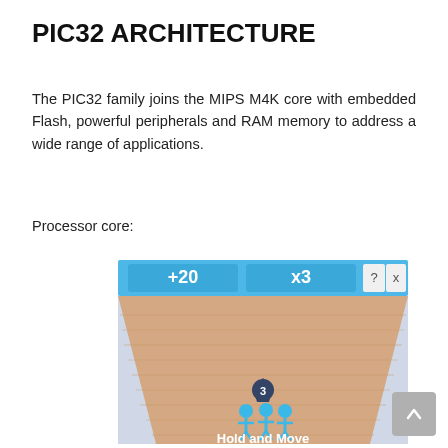PIC32 ARCHITECTURE
The PIC32 family joins the MIPS M4K core with embedded Flash, powerful peripherals and RAM memory to address a wide range of applications.
Processor core:
[Figure (screenshot): Screenshot of a mobile game called 'Hold and Move' showing a bowling alley lane with blue cartoon figures, a score display showing +20 and x3 multipliers, and a close button.]